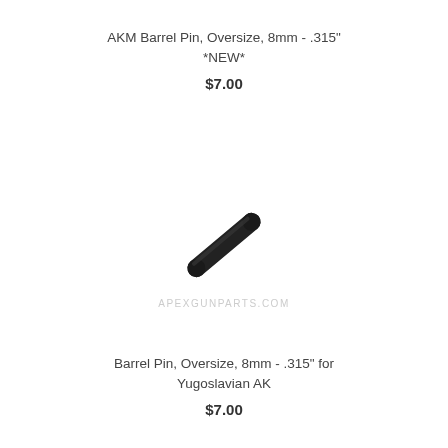AKM Barrel Pin, Oversize, 8mm - .315"
*NEW*
$7.00
[Figure (photo): A small cylindrical barrel pin shown at a diagonal angle, dark/black metal finish]
Barrel Pin, Oversize, 8mm - .315" for Yugoslavian AK
$7.00